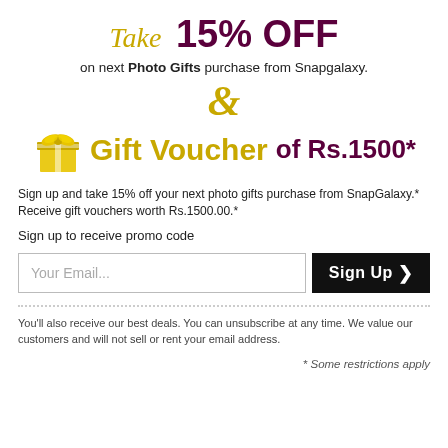Take 15% OFF on next Photo Gifts purchase from Snapgalaxy.
& Gift Voucher of Rs.1500*
Sign up and take 15% off your next photo gifts purchase from SnapGalaxy.* Receive gift vouchers worth Rs.1500.00.*
Sign up to receive promo code
[Figure (other): Email input field labeled 'Your Email...' and a black 'Sign Up >' button]
You'll also receive our best deals. You can unsubscribe at any time. We value our customers and will not sell or rent your email address.
* Some restrictions apply